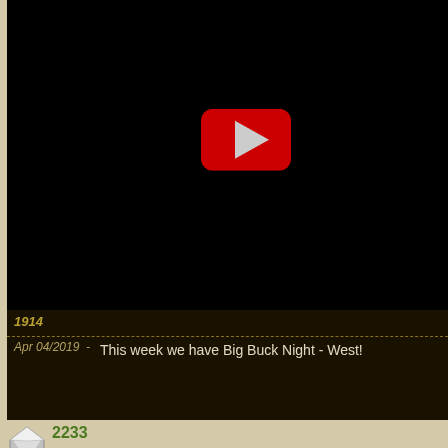[Figure (screenshot): YouTube video player showing a black screen with YouTube play button icon (red rounded rectangle with white/gray triangle). Video bottom bar shows number 1914, a dashed separator, date 'Apr 04/2019' and title 'This week we have Big Buck Night - West!']
2233
Aug 18/2022  -
This week we start on Grand Traverse Bay chasing some salmon. We also have a couple of stories aimed at getting kids introduced to the outdoors! Don't forget to like, comment, and s channel! We'll be giving away a couple of sweatshirts to people the...Thanks for watching...